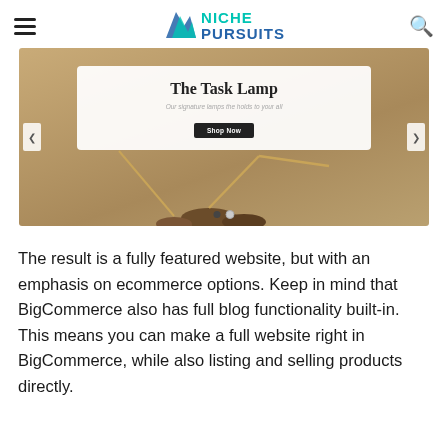NICHE PURSUITS
[Figure (screenshot): A BigCommerce ecommerce website screenshot showing a product slideshow with 'The Task Lamp' product, navigation arrows on left and right, slide dots at bottom, on a tan/beige background.]
The result is a fully featured website, but with an emphasis on ecommerce options. Keep in mind that BigCommerce also has full blog functionality built-in. This means you can make a full website right in BigCommerce, while also listing and selling products directly.